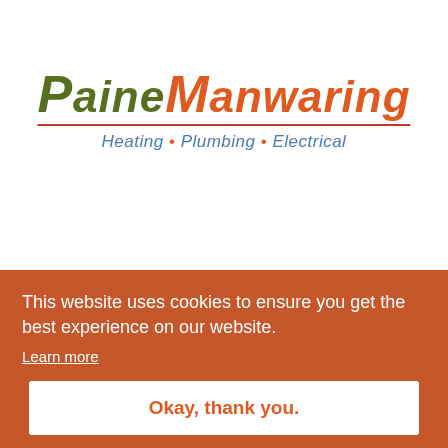[Figure (logo): Paine Manwaring logo with tagline: Heating • Plumbing • Electrical. 'Paine' in dark olive-green italic bold, 'Manwaring' in orange italic bold, red underline, tagline in blue italic.]
This website uses cookies to ensure you get the best experience on our website.
Learn more
Okay, thank you.